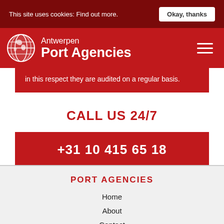This site uses cookies: Find out more.   Okay, thanks
[Figure (logo): Antwerpen Port Agencies logo with globe icon and hamburger menu]
in this respect they are audited on a regular basis.
CALL US 24/7
+31 10 415 65 18
PORT AGENCIES
Home
About
Contact
News